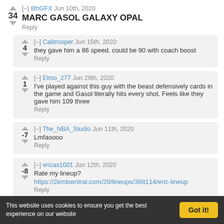▲ [–] 8thGFX Jun 10th, 2020
34 MARC GASOL GALAXY OPAL
Reply
▲ [–] Calitrooper Jun 15th, 2020
4 they gave him a 86 speed. could be 90 with coach boost
Reply
▲ [–] Elmo_277 Jun 29th, 2020
1 I've played against this guy with the beast defensively cards in the game and Gasol literally hits every shot. Feels like they gave him 109 three
Reply
▲ [–] The_NBA_Studio Jun 11th, 2020
-7 Lmfaoooo
Reply
▲ [–] ericas1001 Jun 12th, 2020
-8 Rate my lineup?
https://2kmtcentral.com/20/lineups/368114/eric-lineup
Reply
This website uses cookies to ensure you get the best experience on our website
Got it!